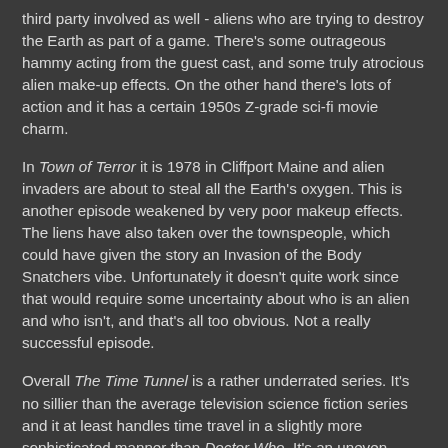third party involved as well - aliens who are trying to destroy the Earth as part of a game. There's some outrageous hammy acting from the guest cast, and some truly atrocious alien make-up effects. On the other hand there's lots of action and it has a certain 1950s Z-grade sci-fi movie charm.
In Town of Terror it is 1978 in Cliffport Maine and alien invaders are about to steal all the Earth's oxygen. This is another episode weakened by very poor makeup effects. The liens have also taken over the townspeople, which could have given the story an Invasion of the Body Snatchers vibe. Unfortunately it doesn't quite work since that would require some uncertainty about who is an alien and who isn't, and that's all too obvious. Not a really successful episode.
Overall The Time Tunnel is a rather underrated series. It's no sillier than the average television science fiction series and it at least handles time travel in a slightly more sophisticated manner than Doctor Who. It's an uneven series and it seemed to go into a bit of a decline towards the end but there are some very decent and very entertaining stories and it has its moments of cleverness.